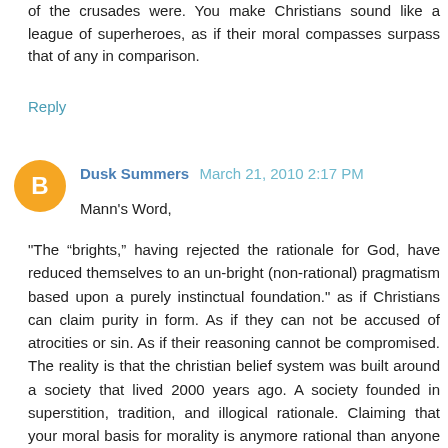of the crusades were. You make Christians sound like a league of superheroes, as if their moral compasses surpass that of any in comparison.
Reply
Dusk Summers March 21, 2010 2:17 PM
Mann's Word,
"The “brights,” having rejected the rationale for God, have reduced themselves to an un-bright (non-rational) pragmatism based upon a purely instinctual foundation." as if Christians can claim purity in form. As if they can not be accused of atrocities or sin. As if their reasoning cannot be compromised. The reality is that the christian belief system was built around a society that lived 2000 years ago. A society founded in superstition, tradition, and illogical rationale. Claiming that your moral basis for morality is anymore rational than anyone elses is prideful, egotistical, and discriminatory. Christians are human just like everyone else. They are face with the same situations, that we are